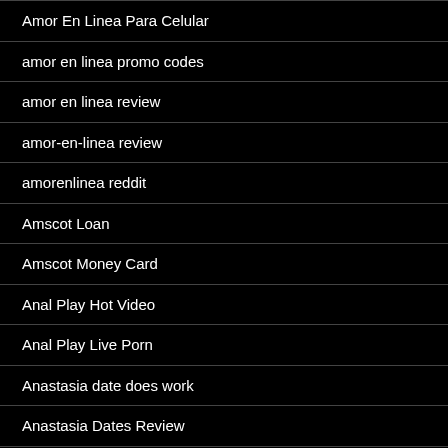Amor En Linea Para Celular
amor en linea promo codes
amor en linea review
amor-en-linea review
amorenlinea reddit
Amscot Loan
Amscot Money Card
Anal Play Hot Video
Anal Play Live Porn
Anastasia date does work
Anastasia Dates Review
anastasia japanese brides
Anastasia Russian Brides